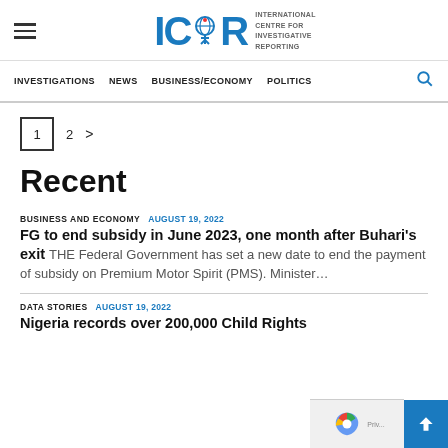ICIR - International Centre for Investigative Reporting
INVESTIGATIONS  NEWS  BUSINESS/ECONOMY  POLITICS
1  2  >
Recent
BUSINESS AND ECONOMY  AUGUST 19, 2022
FG to end subsidy in June 2023, one month after Buhari's exit THE Federal Government has set a new date to end the payment of subsidy on Premium Motor Spirit (PMS). Minister…
DATA STORIES  AUGUST 19, 2022
Nigeria records over 200,000 Child Rights